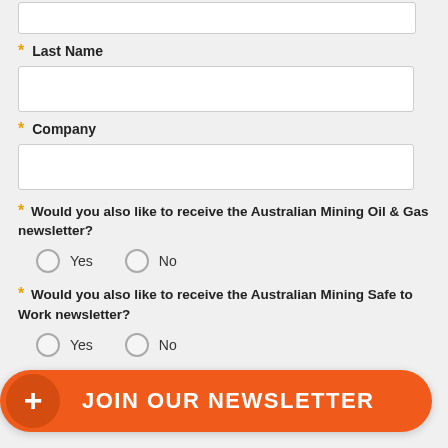Last Name
Company
* Would you also like to receive the Australian Mining Oil & Gas newsletter?  Yes  No
* Would you also like to receive the Australian Mining Safe to Work newsletter?  Yes  No
JOIN OUR NEWSLETTER